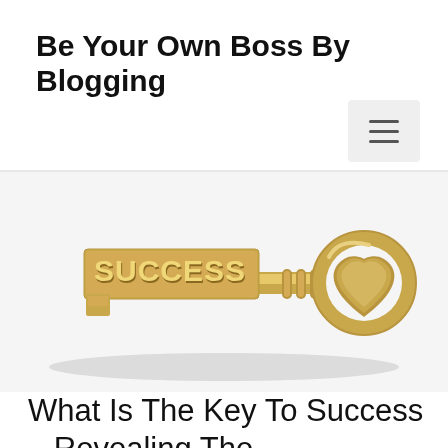Be Your Own Boss By Blogging
[Figure (illustration): A golden antique key with the word SUCCESS engraved on the bow/head, lying on a white background. The key has a decorative heart-shaped head and cylindrical shaft with ridges.]
What Is The Key To Success – Revealing The